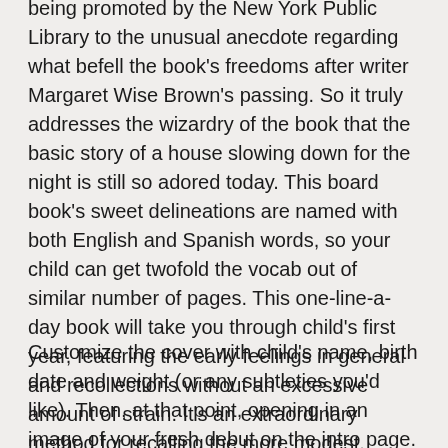being promoted by the New York Public Library to the unusual anecdote regarding what befell the book's freedoms after writer Margaret Wise Brown's passing. So it truly addresses the wizardry of the book that the basic story of a house slowing down for the night is still so adored today. This board book's sweet delineations are named with both English and Spanish words, so your child can get twofold the vocab out of similar number of pages. This one-line-a-day book will take you through child's first year, featuring the early feelings in general and recollections without an excessive amount of strain. It's an extraordinary method for recalling the more modest, regular minutes you probably won't think to place in a conventional child book.
Customize the cover with child's name, birth date and weight (or any subtleties you'd like). Then, at that point, opening in an image of your fresh debut on the intro page. This child book has convenient diary prompts and